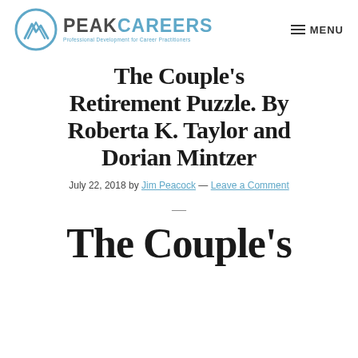[Figure (logo): Peak Careers logo with circular mountain icon and tagline 'Professional Development for Career Practitioners']
The Couple's Retirement Puzzle. By Roberta K. Taylor and Dorian Mintzer
July 22, 2018 by Jim Peacock — Leave a Comment
—
The Couple's